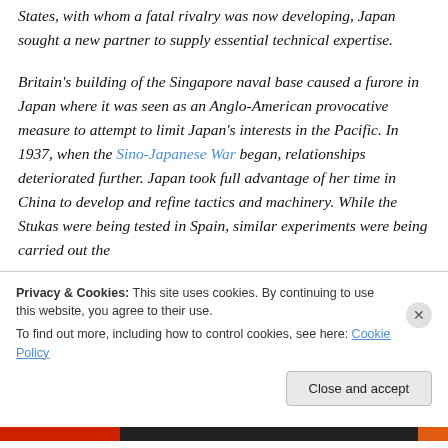States, with whom a fatal rivalry was now developing, Japan sought a new partner to supply essential technical expertise.

Britain's building of the Singapore naval base caused a furore in Japan where it was seen as an Anglo-American provocative measure to attempt to limit Japan's interests in the Pacific. In 1937, when the Sino-Japanese War began, relationships deteriorated further. Japan took full advantage of her time in China to develop and refine tactics and machinery. While the Stukas were being tested in Spain, similar experiments were being carried out the
Privacy & Cookies: This site uses cookies. By continuing to use this website, you agree to their use.
To find out more, including how to control cookies, see here: Cookie Policy